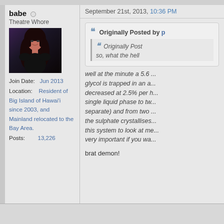babe ○
Theatre Whore
[Figure (photo): Profile photo of a woman with long dark hair, wearing dark clothing, seated pose against dark background]
Join Date: Jun 2013
Location: Resident of Big Island of Hawai'i since 2003, and Mainland relocated to the Bay Area.
Posts: 13,226
September 21st, 2013, 10:36 PM
Originally Posted by p
Originally Post
so, what the hell
well at the minute a 5.6 ... glycol is trapped in an a... decreased at 2.5% per h... single liquid phase to tw... separate) and from two ... the sulphate crystallises... this system to look at me... very important if you wa...
brat demon!